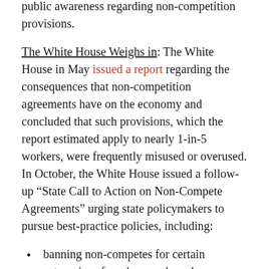public awareness regarding non-competition provisions.
The White House Weighs in: The White House in May issued a report regarding the consequences that non-competition agreements have on the economy and concluded that such provisions, which the report estimated apply to nearly 1-in-5 workers, were frequently misused or overused. In October, the White House issued a follow-up “State Call to Action on Non-Compete Agreements” urging state policymakers to pursue best-practice policies, including:
banning non-competes for certain categories of workers such as: low-wage earners, workers in occupations promoting public health, or workers who might suffer